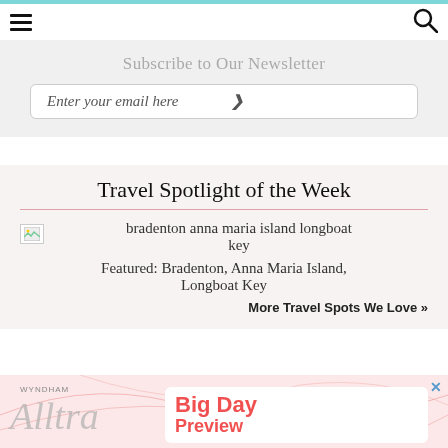Subscribe to Our Newsletter
Enter your email here
Travel Spotlight of the Week
[Figure (photo): Broken image placeholder for bradenton anna maria island longboat key]
bradenton anna maria island longboat key
Featured: Bradenton, Anna Maria Island, Longboat Key
More Travel Spots We Love »
[Figure (advertisement): Wyndham advertisement with Big Day Preview text and Ultra script logo on pink/coral background]